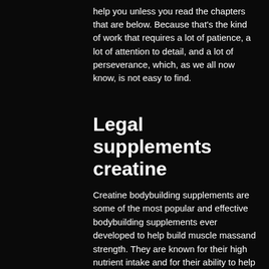help you unless you read the chapters that are below. Because that's the kind of work that requires a lot of patience, a lot of attention to detail, and a lot of perseverance, which, as we all now know, is not easy to find.
Legal supplements creatine
Creatine bodybuilding supplements are some of the most popular and effective bodybuilding supplements ever developed to help build muscle massand strength. They are known for their high nutrient intake and for their ability to help burn fat.
While most creatine is added to the creatine molecule itself, a great deal of the bodybuilder's creatine found in supplements